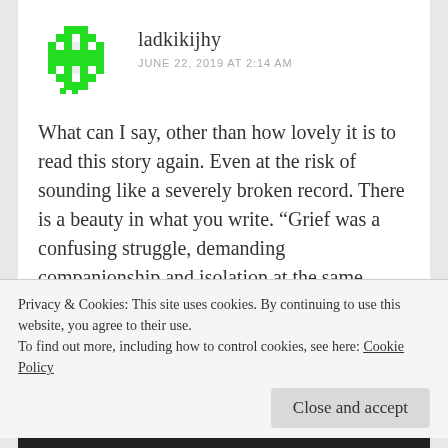ladkikijhy
JUNE 22, 2019 AT 2:14 AM
What can I say, other than how lovely it is to read this story again. Even at the risk of sounding like a severely broken record. There is a beauty in what you write. “Grief was a confusing struggle, demanding companionship and isolation at the same time.” Some days back I was thinking, the outside
Privacy & Cookies: This site uses cookies. By continuing to use this website, you agree to their use.
To find out more, including how to control cookies, see here: Cookie Policy
Close and accept